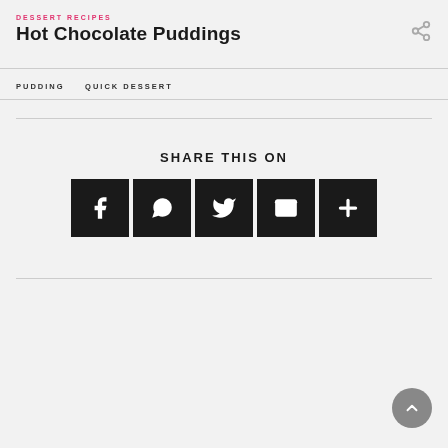DESSERT RECIPES
Hot Chocolate Puddings
PUDDING   QUICK DESSERT
SHARE THIS ON
[Figure (infographic): Five black square social sharing buttons: Facebook, WhatsApp, Twitter, Email, and More (+)]
[Figure (infographic): Grey circular back-to-top arrow button in bottom right corner]